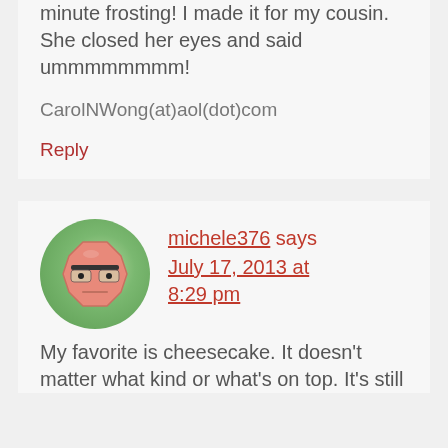minute frosting! I made it for my cousin. She closed her eyes and said ummmmmmmm!
CarolNWong(at)aol(dot)com
Reply
michele376 says July 17, 2013 at 8:29 pm
[Figure (illustration): Round avatar icon showing a cartoon octagon-shaped face with glasses and a neutral expression on a green circular background]
My favorite is cheesecake. It doesn't matter what kind or what's on top. It's still